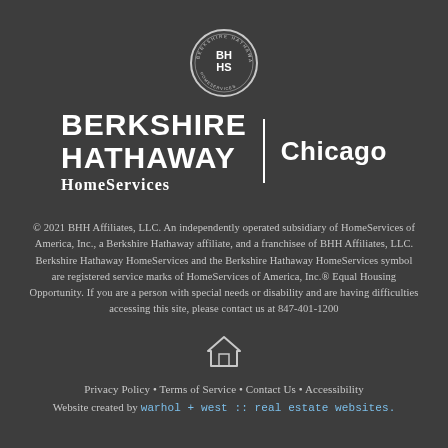[Figure (logo): Berkshire Hathaway HomeServices circular logo badge with BH HS lettering]
BERKSHIRE HATHAWAY HomeServices | Chicago
© 2021 BHH Affiliates, LLC. An independently operated subsidiary of HomeServices of America, Inc., a Berkshire Hathaway affiliate, and a franchisee of BHH Affiliates, LLC. Berkshire Hathaway HomeServices and the Berkshire Hathaway HomeServices symbol are registered service marks of HomeServices of America, Inc.® Equal Housing Opportunity. If you are a person with special needs or disability and are having difficulties accessing this site, please contact us at 847-401-1200
[Figure (logo): Equal Housing Opportunity house icon]
Privacy Policy • Terms of Service • Contact Us • Accessibility
Website created by warhol + west :: real estate websites.